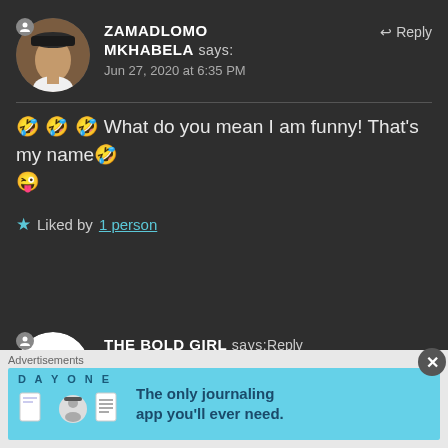[Figure (photo): Circular profile photo of a woman wearing a dark hat, with a small person icon overlay in the top-left of the circle]
ZAMADLOMO MKHABELA says:
Jun 27, 2020 at 6:35 PM
↩ Reply
🤣 🤣 🤣 What do you mean I am funny! That's my name🤣 😜
★ Liked by 1 person
[Figure (logo): Circular white avatar with The Bold Girl blog logo and text 'The Bold Vibe', with a small person icon overlay]
THE BOLD GIRL says: Reply
Jun 27, 2020 at 6:39 PM
Advertisements
[Figure (infographic): Day One journaling app advertisement banner on light blue background. Shows 'DAY ONE' text, three app-related icons, and text 'The only journaling app you'll ever need.']